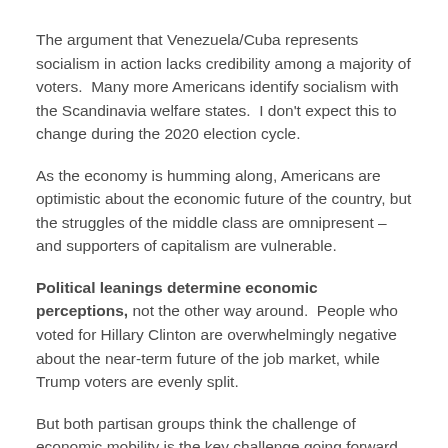The argument that Venezuela/Cuba represents socialism in action lacks credibility among a majority of voters.  Many more Americans identify socialism with the Scandinavia welfare states.  I don't expect this to change during the 2020 election cycle.
As the economy is humming along, Americans are optimistic about the economic future of the country, but the struggles of the middle class are omnipresent – and supporters of capitalism are vulnerable.
Political leanings determine economic perceptions, not the other way around.  People who voted for Hillary Clinton are overwhelmingly negative about the near-term future of the job market, while Trump voters are evenly split.
But both partisan groups think the challenge of economic mobility is the key challenge going forward.